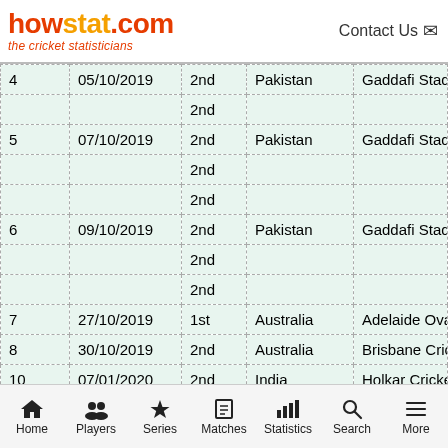howstat.com the cricket statisticians | Contact Us
| # | Date | Inn | Opponent | Venue |
| --- | --- | --- | --- | --- |
| 4 | 05/10/2019 | 2nd | Pakistan | Gaddafi Stadium |
|  |  | 2nd |  |  |
| 5 | 07/10/2019 | 2nd | Pakistan | Gaddafi Stadium |
|  |  | 2nd |  |  |
|  |  | 2nd |  |  |
| 6 | 09/10/2019 | 2nd | Pakistan | Gaddafi Stadium |
|  |  | 2nd |  |  |
|  |  | 2nd |  |  |
| 7 | 27/10/2019 | 1st | Australia | Adelaide Oval |
| 8 | 30/10/2019 | 2nd | Australia | Brisbane Cricket G |
| 10 | 07/01/2020 | 2nd | India | Holkar Cricket Sta |
|  |  | 2nd |  |  |
| 11 | 10/01/2020 |  | India | Maharashtra Crick |
Home  Players  Series  Matches  Statistics  Search  More